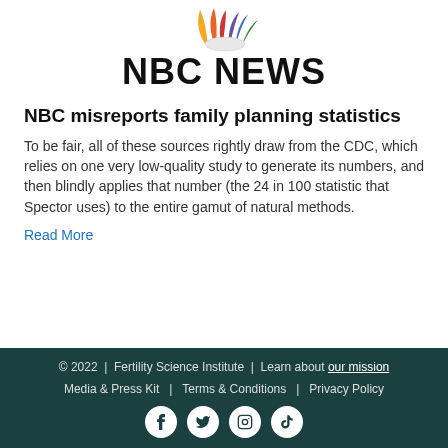[Figure (logo): NBC News logo with peacock and wordmark NBC NEWS]
NBC misreports family planning statistics
To be fair, all of these sources rightly draw from the CDC, which relies on one very low-quality study to generate its numbers, and then blindly applies that number (the 24 in 100 statistic that Spector uses) to the entire gamut of natural methods.
Read More
© 2022 | Fertility Science Institute | Learn about our mission
Media & Press Kit | Terms & Conditions | Privacy Policy